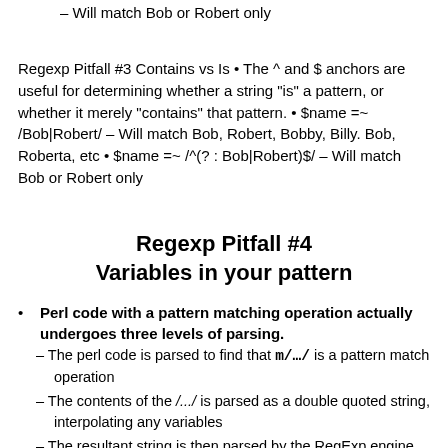– Will match Bob or Robert only
Regexp Pitfall #3 Contains vs Is • The ^ and $ anchors are useful for determining whether a string "is" a pattern, or whether it merely "contains" that pattern. • $name =~ /Bob|Robert/ – Will match Bob, Robert, Bobby, Billy. Bob, Roberta, etc • $name =~ /^(?: Bob|Robert)$/ – Will match Bob or Robert only
Regexp Pitfall #4
Variables in your pattern
Perl code with a pattern matching operation actually undergoes three levels of parsing.
– The perl code is parsed to find that m/.../ is a pattern match operation
– The contents of the /.../  is parsed as a double quoted string, interpolating any variables
– The resultant string is then parsed by the RegExp engine.